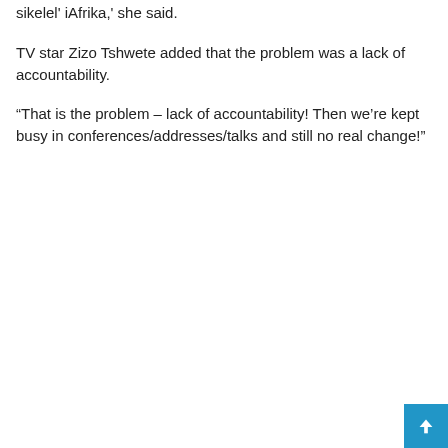sikelel' iAfrika,' she said.
TV star Zizo Tshwete added that the problem was a lack of accountability.
“That is the problem – lack of accountability! Then we’re kept busy in conferences/addresses/talks and still no real change!”